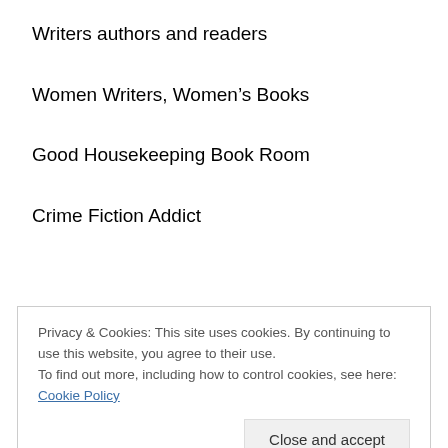Writers authors and readers
Women Writers, Women's Books
Good Housekeeping Book Room
Crime Fiction Addict
Book Blog Tour Organisers:
Privacy & Cookies: This site uses cookies. By continuing to use this website, you agree to their use.
To find out more, including how to control cookies, see here: Cookie Policy